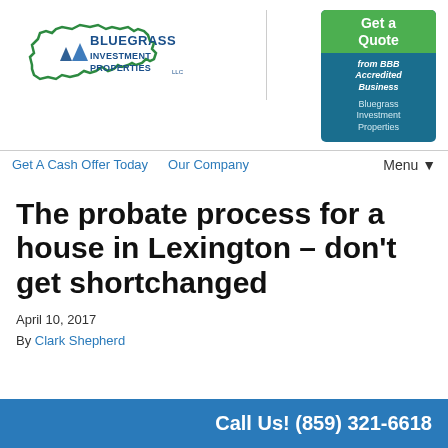[Figure (logo): Bluegrass Investment Properties LLC logo with Kentucky state outline in green and blue text]
[Figure (infographic): BBB Get a Quote widget - teal and green box reading 'Get a Quote from BBB Accredited Business - Bluegrass Investment Properties']
Get A Cash Offer Today    Our Company    Menu▼
The probate process for a house in Lexington – don't get shortchanged
April 10, 2017
By Clark Shepherd
Call Us! (859) 321-6618